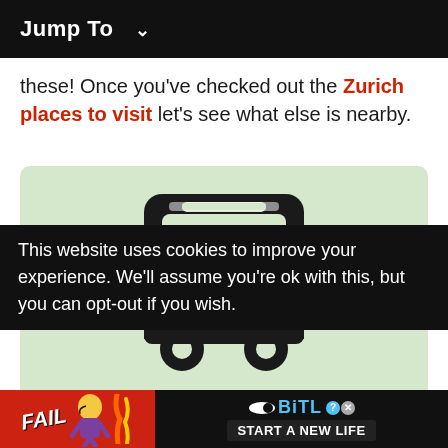Jump To ∨
these! Once you've checked out the Zurich places to visit let's see what else is nearby.
[Figure (illustration): A black bus icon on a light green rounded rectangle background]
This website uses cookies to improve your experience. We'll assume you're ok with this, but you can opt-out if you wish.
[Figure (advertisement): BitLife advertisement banner with FAIL text, animated character, flames, and 'START A NEW LIFE' text]